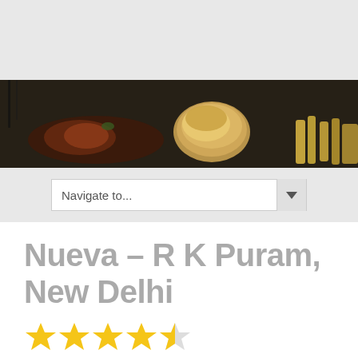[Figure (photo): Top grey header area of a website]
[Figure (photo): Dark food photo banner showing dishes on a dark slate plate including meat, a bread roll, and fries]
[Figure (screenshot): Navigate to... dropdown navigation selector]
Nueva – R K Puram, New Delhi
[Figure (other): 4.5 star rating shown as 4 full gold stars and 1 half gold star]
[Figure (other): Social media share icons: Facebook (blue), Twitter (blue), WhatsApp (green), Pinterest (red)]